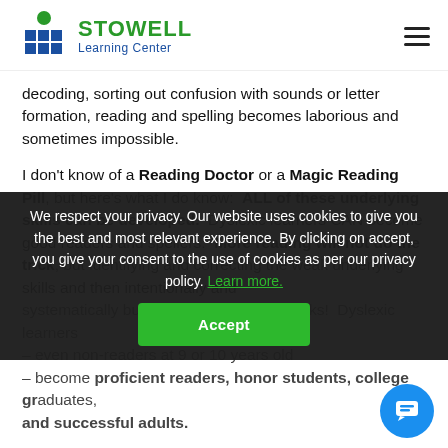STOWELL Learning Center
decoding, sorting out confusion with sounds or letter formation, reading and spelling becomes laborious and sometimes impossible.
I don't know of a Reading Doctor or a Magic Reading Pill, but here's what I do know:  ALL of these underlying skills can be developed.  Dyslexic learners CAN become good readers and spellers.  More reading will not do the trick, but identifying and correcting the weak underlying skills and then intentionally and systematically building them up – that works!  Dyslexic learners – even non-readers at 9 or 10 years old – become proficient readers, honor students, college graduates, and successful adults.
We respect your privacy. Our website uses cookies to give you the best and most relevant experience. By clicking on accept, you give your consent to the use of cookies as per our privacy policy. Learn more.